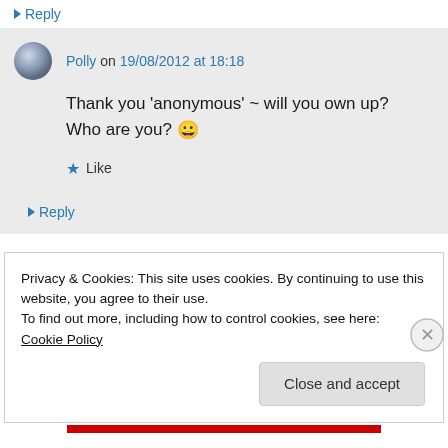↳ Reply
Polly on 19/08/2012 at 18:18
Thank you 'anonymous' ~ will you own up? Who are you? 😀
★ Like
↳ Reply
Privacy & Cookies: This site uses cookies. By continuing to use this website, you agree to their use.
To find out more, including how to control cookies, see here: Cookie Policy
Close and accept